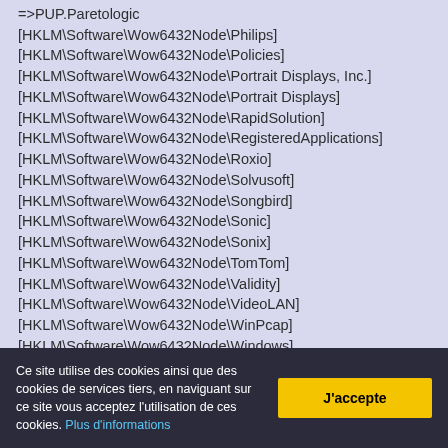=>PUP.Paretologic
[HKLM\Software\Wow6432Node\Philips]
[HKLM\Software\Wow6432Node\Policies]
[HKLM\Software\Wow6432Node\Portrait Displays, Inc.]
[HKLM\Software\Wow6432Node\Portrait Displays]
[HKLM\Software\Wow6432Node\RapidSolution]
[HKLM\Software\Wow6432Node\RegisteredApplications]
[HKLM\Software\Wow6432Node\Roxio]
[HKLM\Software\Wow6432Node\Solvusoft]
[HKLM\Software\Wow6432Node\Songbird]
[HKLM\Software\Wow6432Node\Sonic]
[HKLM\Software\Wow6432Node\Sonix]
[HKLM\Software\Wow6432Node\TomTom]
[HKLM\Software\Wow6432Node\Validity]
[HKLM\Software\Wow6432Node\VideoLAN]
[HKLM\Software\Wow6432Node\WinPcap]
[HKLM\Software\Wow6432Node\Windows]
[HKLM\Software\Wow6432Node\illiminable]
[HKLM\Software\Wow6432Node\mozilla.org]
Ce site utilise des cookies ainsi que des cookies de services tiers, en naviguant sur ce site vous acceptez l'utilisation de ces cookies. Plus d'informations
J'accepte